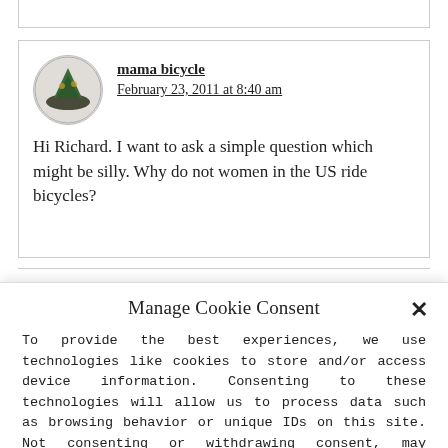(partial comment box top)
mama bicycle
February 23, 2011 at 8:40 am

Hi Richard. I want to ask a simple question which might be silly. Why do not women in the US ride bicycles?
Manage Cookie Consent
To provide the best experiences, we use technologies like cookies to store and/or access device information. Consenting to these technologies will allow us to process data such as browsing behavior or unique IDs on this site. Not consenting or withdrawing consent, may adversely affect certain features and functions.
Accept